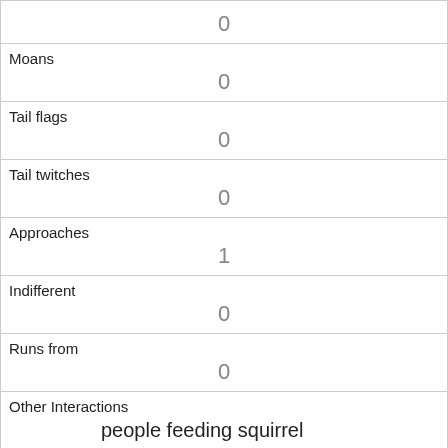| Moans | 0 |
| Tail flags | 0 |
| Tail twitches | 0 |
| Approaches | 1 |
| Indifferent | 0 |
| Runs from | 0 |
| Other Interactions | people feeding squirrel |
| Lat/Long | POINT (-73.9771924901559 40.7666722729471) |
| Link | 2686 |